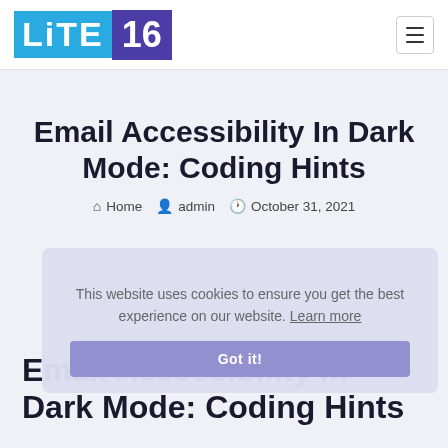LITE16
Email Accessibility In Dark Mode: Coding Hints
Home  admin  October 31, 2021
This website uses cookies to ensure you get the best experience on our website. Learn more
Got it!
Email Accessibility in Dark Mode: Coding Hints